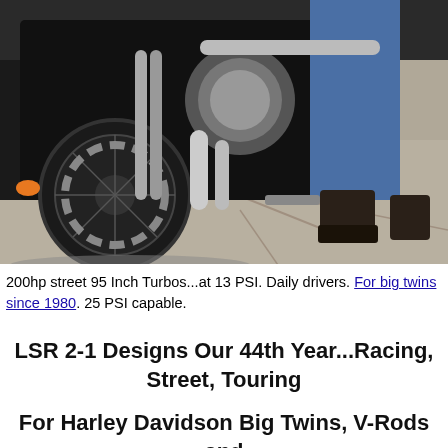[Figure (photo): Close-up photo of a Harley-Davidson touring motorcycle with chrome engine and exhaust, front wheel visible with disc brake, rider's legs in jeans and black boots standing beside the bike on a cracked concrete surface]
200hp street 95 Inch Turbos...at 13 PSI. Daily drivers. For big twins since 1980. 25 PSI capable.
LSR 2-1 Designs Our 44th Year...Racing, Street, Touring
For Harley Davidson Big Twins, V-Rods and Sportsters